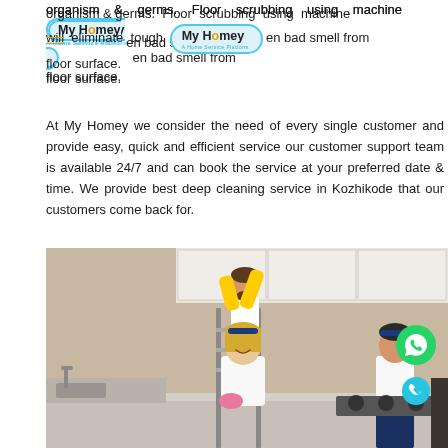organism & germs. Floor scrubbing using machine will eliminate tough stain and even bad smell from floor surface.
At My Homey we consider the need of every single customer and provide easy, quick and efficient service our customer support team is available 24/7 and can book the service at your preferred date & time. We provide best deep cleaning service in Kozhikode that our customers come back for.
[Figure (photo): Three cleaning service workers in a kitchen. A man with yellow rubber gloves cleaning upper cabinets on a ladder on the left, a smiling blonde woman in white t-shirt holding a pink sponge in the center, and a woman cleaning the stovetop area on the right. Two circular buttons overlay the image: a green WhatsApp icon button and a blue phone icon button.]